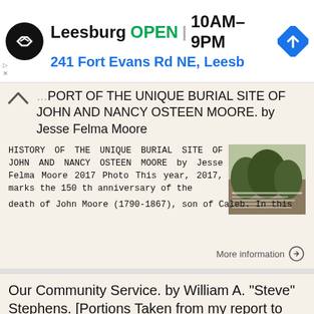[Figure (other): Advertisement banner: Leesburg store logo (black circle with arrow icon), text 'Leesburg OPEN 10AM–9PM 241 Fort Evans Rd NE, Leesb', blue navigation arrow icon]
HISTORY OF THE UNIQUE BURIAL SITE OF JOHN AND NANCY OSTEEN MOORE. by Jesse Felma Moore
HISTORY OF THE UNIQUE BURIAL SITE OF JOHN AND NANCY OSTEEN MOORE by Jesse Felma Moore 2017 Photo This year, 2017, marks the 150 th anniversary of the death of John Moore (1790-1867), son of Caleb. In this
More information →
Our Community Service. by William A. "Steve" Stephens. [Portions Taken from my report to the members of the Moffat
Our Community Service by William A. "Steve"